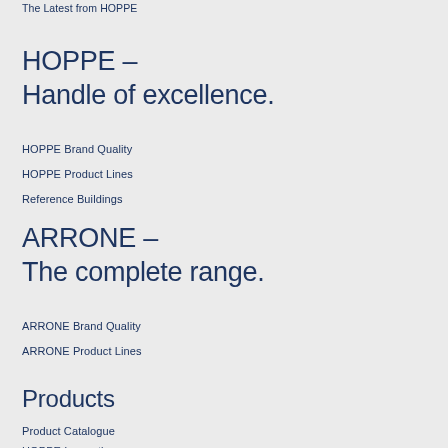The Latest from HOPPE
HOPPE –
Handle of excellence.
HOPPE Brand Quality
HOPPE Product Lines
Reference Buildings
ARRONE –
The complete range.
ARRONE Brand Quality
ARRONE Product Lines
Products
Product Catalogue
HOPPE Innovations